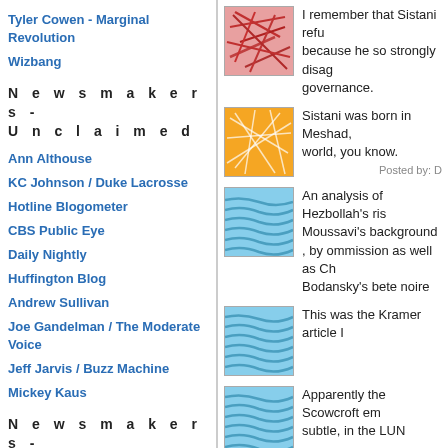Tyler Cowen - Marginal Revolution
Wizbang
N e w s m a k e r s  -  U n c l a i m e d
Ann Althouse
KC Johnson / Duke Lacrosse
Hotline Blogometer
CBS Public Eye
Daily Nightly
Huffington Blog
Andrew Sullivan
Joe Gandelman / The Moderate Voice
Jeff Jarvis / Buzz Machine
Mickey Kaus
N e w s m a k e r s  -  L e f t
Blog For America (And Dean)
[Figure (illustration): Red abstract geometric pattern thumbnail]
I remember that Sistani refused because he so strongly disagreed governance.
[Figure (illustration): Orange abstract network pattern thumbnail]
Sistani was born in Meshad, world, you know.
Posted by: D
[Figure (illustration): Blue wavy lines pattern thumbnail]
An analysis of Hezbollah's rise, Moussavi's background , by ommission as well as Ch, Bodansky's bete noire
[Figure (illustration): Blue wavy lines pattern thumbnail]
This was the Kramer article I
[Figure (illustration): Blue wavy lines pattern thumbnail]
Apparently the Scowcroft em subtle, in the LUN